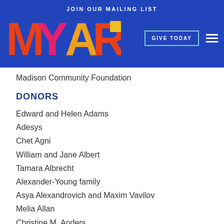JOIN OUR MAILING LIST
[Figure (logo): MY ART colorful logo in orange, red, magenta, yellow on blue background]
Madison Community Foundation
DONORS
Edward and Helen Adams
Adesys
Chet Agni
William and Jane Albert
Tamara Albrecht
Alexander-Young family
Asya Alexandrovich and Maxim Vavilov
Melia Allan
Christine M. Anders